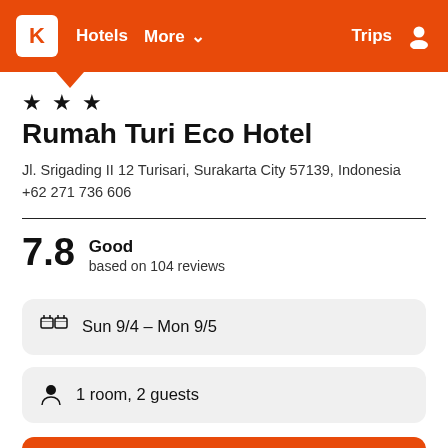K  Hotels  More ▾  Trips  👤
★ ★ ★
Rumah Turi Eco Hotel
Jl. Srigading II 12 Turisari, Surakarta City 57139, Indonesia
+62 271 736 606
7.8  Good
based on 104 reviews
Sun 9/4  –  Mon 9/5
1 room, 2 guests
Search